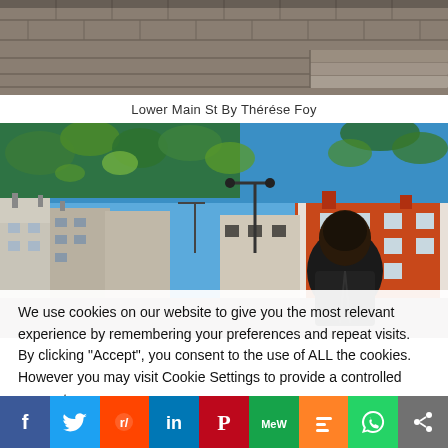[Figure (photo): Top portion of a street/plaza photo showing paved ground and steps, cropped at top]
Lower Main St By Thérése Foy
[Figure (photo): Street scene with buildings, trees with leaves in foreground, blue sky, person with dark hair seen from behind, street lamp visible]
We use cookies on our website to give you the most relevant experience by remembering your preferences and repeat visits. By clicking "Accept", you consent to the use of ALL the cookies. However you may visit Cookie Settings to provide a controlled consent.
[Figure (infographic): Social media sharing bar with icons: Facebook (blue), Twitter (light blue), Reddit (orange), LinkedIn (dark blue), Pinterest (red), MeWe (teal/green), Mix (orange), WhatsApp (green), Share (grey)]